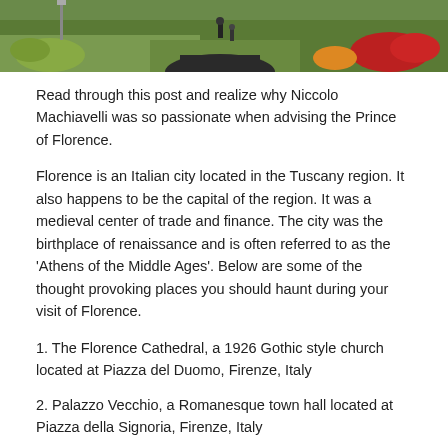[Figure (photo): Top portion of a garden/park photo showing green lawns, flower beds with red and orange flowers, a dark pathway, and people walking. The image is cropped at the top of the page.]
Read through this post and realize why Niccolo Machiavelli was so passionate when advising the Prince of Florence.
Florence is an Italian city located in the Tuscany region. It also happens to be the capital of the region. It was a medieval center of trade and finance. The city was the birthplace of renaissance and is often referred to as the 'Athens of the Middle Ages'. Below are some of the thought provoking places you should haunt during your visit of Florence.
1. The Florence Cathedral, a 1926 Gothic style church located at Piazza del Duomo, Firenze, Italy
2. Palazzo Vecchio, a Romanesque town hall located at Piazza della Signoria, Firenze, Italy
3. Basilica of Santa Croce, a 1926 Franciscan Church in Florence
4. Piazza Della Signoria, a historic L-shaped square located at Piazza della Signoria, Firenze, Italy